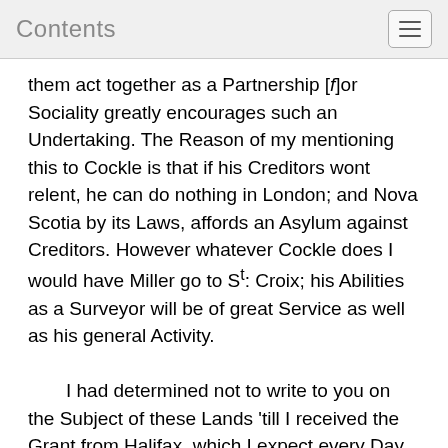Contents
them act together as a Partnership [f]or Sociality greatly encourages such an Undertaking. The Reason of my mentioning this to Cockle is that if his Creditors wont relent, he can do nothing in London; and Nova Scotia by its Laws, affords an Asylum against Creditors. However whatever Cockle does I would have Miller go to St: Croix; his Abilities as a Surveyor will be of great Service as well as his general Activity.
    I had determined not to write to you on the Subject of these Lands 'till I received the Grant from Halifax, which I expect every Day. However Mr Millers Subject having broke in upon this Intention, I will add a hint that I have a prospect of getting a Colony of 60 Families of Industrious people upon the